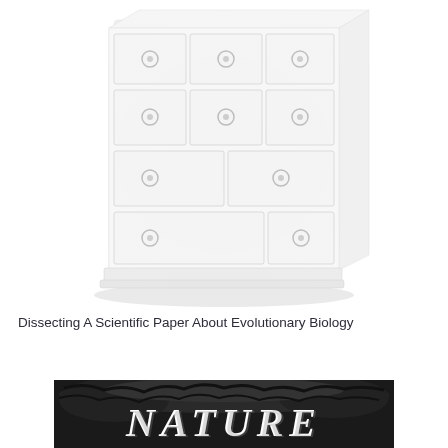[Figure (illustration): A white wooden chest of drawers (dresser) with multiple drawers and round knob handles, shown in a three-quarter perspective view. The image is lightly rendered/faded in white tones.]
Dissecting A Scientific Paper About Evolutionary Biology
[Figure (photo): A black-and-white photograph showing the word 'NATURE' in large decorative lettering, partially visible, set against a dark textured background resembling foliage or a wreath.]